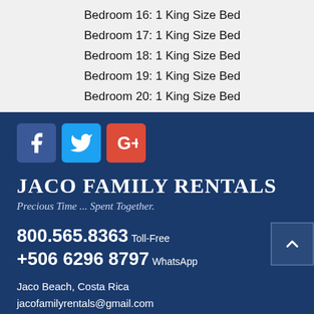Bedroom 16: 1 King Size Bed
Bedroom 17: 1 King Size Bed
Bedroom 18: 1 King Size Bed
Bedroom 19: 1 King Size Bed
Bedroom 20: 1 King Size Bed
[Figure (logo): Social media icons: Facebook (blue), Twitter (light blue), Google+ (red)]
JACO FAMILY RENTALS
Precious Time ... Spent Together.
800.565.8363 Toll-Free
+506 6296 8797 WhatsApp
Jaco Beach, Costa Rica
jacofamilyrentals@gmail.com